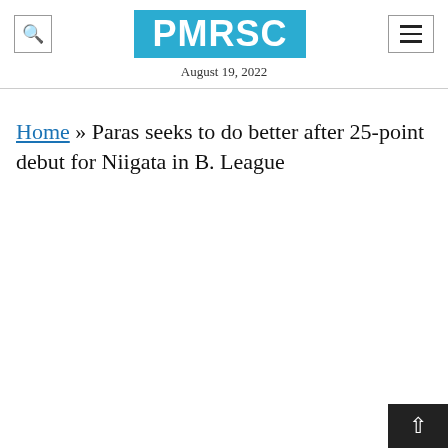PMRSC
August 19, 2022
Home » Paras seeks to do better after 25-point debut for Niigata in B. League